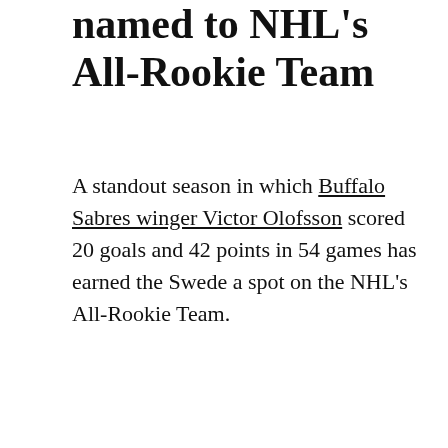named to NHL's All-Rookie Team
A standout season in which Buffalo Sabres winger Victor Olofsson scored 20 goals and 42 points in 54 games has earned the Swede a spot on the NHL's All-Rookie Team.